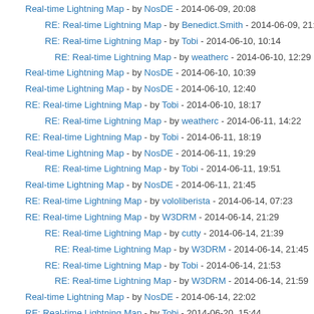Real-time Lightning Map - by NosDE - 2014-06-09, 20:08
RE: Real-time Lightning Map - by Benedict.Smith - 2014-06-09, 21:17
RE: Real-time Lightning Map - by Tobi - 2014-06-10, 10:14
RE: Real-time Lightning Map - by weatherc - 2014-06-10, 12:29
Real-time Lightning Map - by NosDE - 2014-06-10, 10:39
Real-time Lightning Map - by NosDE - 2014-06-10, 12:40
RE: Real-time Lightning Map - by Tobi - 2014-06-10, 18:17
RE: Real-time Lightning Map - by weatherc - 2014-06-11, 14:22
RE: Real-time Lightning Map - by Tobi - 2014-06-11, 18:19
Real-time Lightning Map - by NosDE - 2014-06-11, 19:29
RE: Real-time Lightning Map - by Tobi - 2014-06-11, 19:51
Real-time Lightning Map - by NosDE - 2014-06-11, 21:45
RE: Real-time Lightning Map - by vololiberista - 2014-06-14, 07:23
RE: Real-time Lightning Map - by W3DRM - 2014-06-14, 21:29
RE: Real-time Lightning Map - by cutty - 2014-06-14, 21:39
RE: Real-time Lightning Map - by W3DRM - 2014-06-14, 21:45
RE: Real-time Lightning Map - by Tobi - 2014-06-14, 21:53
RE: Real-time Lightning Map - by W3DRM - 2014-06-14, 21:59
Real-time Lightning Map - by NosDE - 2014-06-14, 22:02
RE: Real-time Lightning Map - by Tobi - 2014-06-20, 15:44
RE: Real-time Lightning Map - by AleT - 2014-07-25, 13:27
RE: Real-time Lightning Map - by HamelGre - 2014-06-21, 13:10
RE: Real-time Lightning Map - by Tobi - 2014-06-21, 13:45
RE: Real-time Lightning Map - by ecreif - 2014-06-23, 14:56
RE: Real-time Lightning Map - by wxrman - 2014-06-26, 00:50